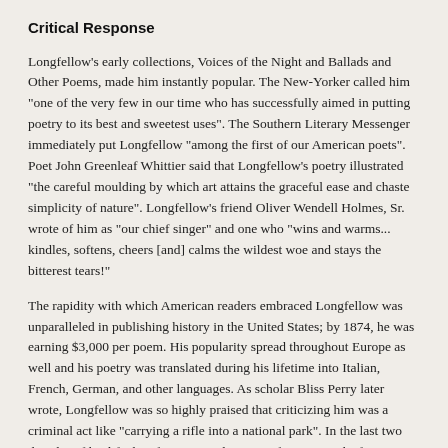Critical Response
Longfellow's early collections, Voices of the Night and Ballads and Other Poems, made him instantly popular. The New-Yorker called him "one of the very few in our time who has successfully aimed in putting poetry to its best and sweetest uses". The Southern Literary Messenger immediately put Longfellow "among the first of our American poets". Poet John Greenleaf Whittier said that Longfellow's poetry illustrated "the careful moulding by which art attains the graceful ease and chaste simplicity of nature". Longfellow's friend Oliver Wendell Holmes, Sr. wrote of him as "our chief singer" and one who "wins and warms... kindles, softens, cheers [and] calms the wildest woe and stays the bitterest tears!"
The rapidity with which American readers embraced Longfellow was unparalleled in publishing history in the United States; by 1874, he was earning $3,000 per poem. His popularity spread throughout Europe as well and his poetry was translated during his lifetime into Italian, French, German, and other languages. As scholar Bliss Perry later wrote, Longfellow was so highly praised that criticizing him was a criminal act like "carrying a rifle into a national park". In the last two decades of his life, he often received requests for autographs from strangers, which he always sent. John Greenleaf Whittier suggested it was this massive correspondence that led to Longfellow's death, writing: "My friend Longfellow was driven to death by these incessant demands".
Contemporary writer Edgar Allan Poe wrote to Longfellow in May 1841 of his "fervent admiration which [your] genius has inspired in